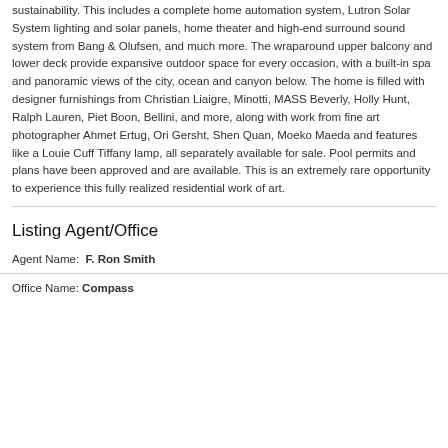sustainability. This includes a complete home automation system, Lutron Solar System lighting and solar panels, home theater and high-end surround sound system from Bang & Olufsen, and much more. The wraparound upper balcony and lower deck provide expansive outdoor space for every occasion, with a built-in spa and panoramic views of the city, ocean and canyon below. The home is filled with designer furnishings from Christian Liaigre, Minotti, MASS Beverly, Holly Hunt, Ralph Lauren, Piet Boon, Bellini, and more, along with work from fine art photographer Ahmet Ertug, Ori Gersht, Shen Quan, Moeko Maeda and features like a Louie Cuff Tiffany lamp, all separately available for sale. Pool permits and plans have been approved and are available. This is an extremely rare opportunity to experience this fully realized residential work of art.
Listing Agent/Office
Agent Name: F. Ron Smith
Office Name: Compass